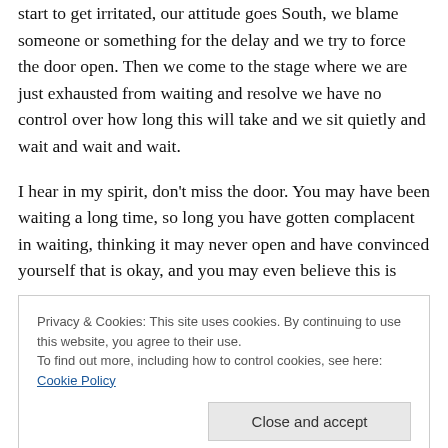start to get irritated, our attitude goes South, we blame someone or something for the delay and we try to force the door open. Then we come to the stage where we are just exhausted from waiting and resolve we have no control over how long this will take and we sit quietly and wait and wait and wait.
I hear in my spirit, don't miss the door. You may have been waiting a long time, so long you have gotten complacent in waiting, thinking it may never open and have convinced yourself that is okay, and you may even believe this is
Privacy & Cookies: This site uses cookies. By continuing to use this website, you agree to their use.
To find out more, including how to control cookies, see here: Cookie Policy
unclean spirits and teach with authority, they debated